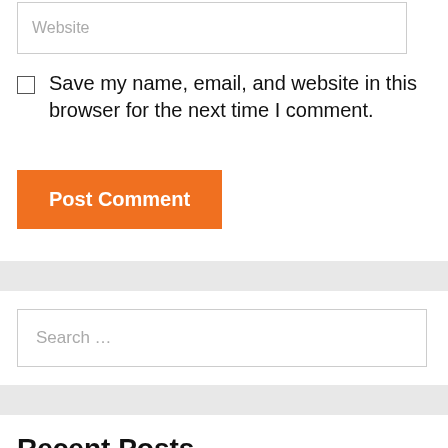Website
Save my name, email, and website in this browser for the next time I comment.
Post Comment
Search …
Recent Posts